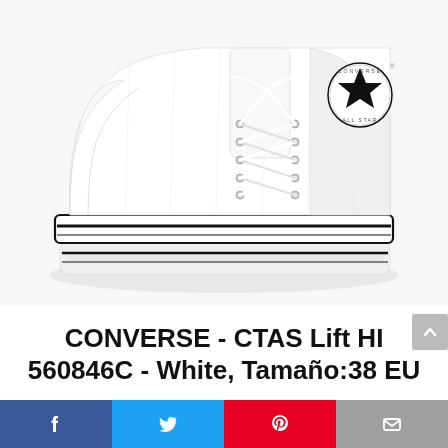[Figure (photo): White Converse Chuck Taylor All Star platform high-top sneaker with black stripe detail on platform sole, white canvas upper, white laces, silver eyelets, and Converse All Star logo patch on ankle. Photographed against white background.]
CONVERSE - CTAS Lift HI 560846C - White, Tamaño:38 EU
[Figure (infographic): Social sharing bar with four buttons: Facebook (blue), Twitter (light blue), Pinterest (red), Email (grey)]